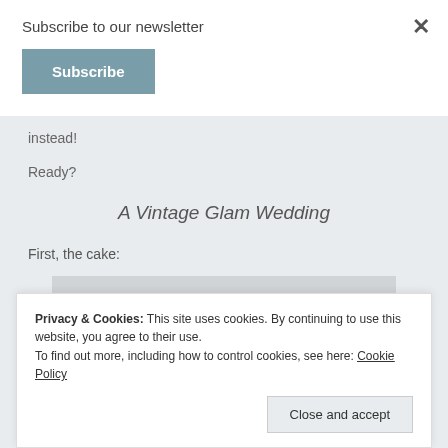Subscribe to our newsletter
Subscribe
instead!
Ready?
A Vintage Glam Wedding
First, the cake:
[Figure (photo): Partially visible image below the page fold]
Privacy & Cookies: This site uses cookies. By continuing to use this website, you agree to their use. To find out more, including how to control cookies, see here: Cookie Policy
Close and accept